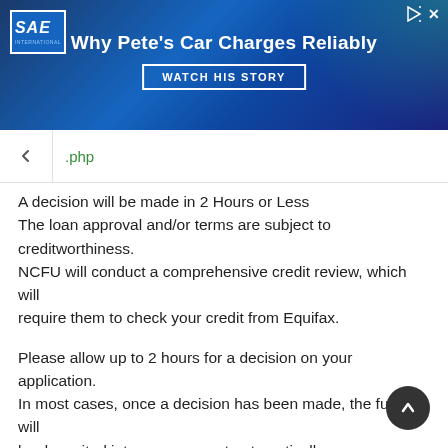[Figure (screenshot): SAE advertisement banner with text 'Why Pete's Car Charges Reliably' and 'WATCH HIS STORY' button on a dark blue background with green glow effect]
.php
A decision will be made in 2 Hours or Less
The loan approval and/or terms are subject to creditworthiness.
NCFU will conduct a comprehensive credit review, which will require them to check your credit from Equifax.
Please allow up to 2 hours for a decision on your application. In most cases, once a decision has been made, the funds will be deposited into your account automatically.
There are Deferred Payments which means the first payment is automatically deferred for 2 cycles, which means it's not due for at least 60 days (but not more than 90 days) after the loan